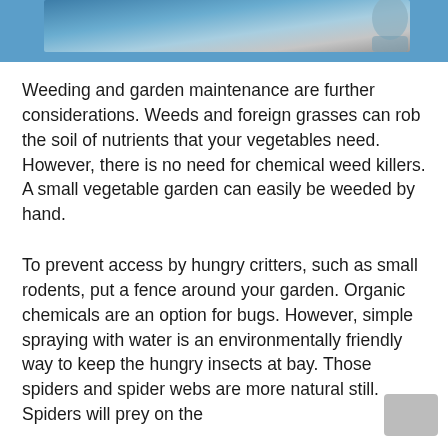[Figure (photo): Partial view of a photo showing a person against a blue background, cropped at top of page]
Weeding and garden maintenance are further considerations. Weeds and foreign grasses can rob the soil of nutrients that your vegetables need. However, there is no need for chemical weed killers. A small vegetable garden can easily be weeded by hand.
To prevent access by hungry critters, such as small rodents, put a fence around your garden. Organic chemicals are an option for bugs. However, simple spraying with water is an environmentally friendly way to keep the hungry insects at bay. Those spiders and spider webs are more natural still. Spiders will prey on the